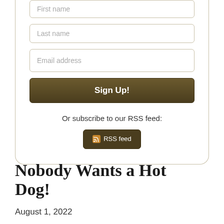[Figure (screenshot): Web form with First name (partially visible), Last name, and Email address input fields, a dark brown Sign Up! button, an 'Or subscribe to our RSS feed:' text, and a dark brown RSS feed button.]
Or subscribe to our RSS feed:
RSS feed
Nobody Wants a Hot Dog!
August 1, 2022